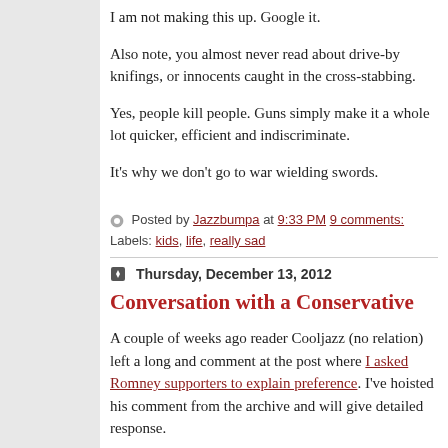I am not making this up. Google it.
Also note, you almost never read about drive-by knifings, or innocents caught in the cross-stabbing.
Yes, people kill people. Guns simply make it a whole lot quicker, efficient and indiscriminate.
It's why we don't go to war wielding swords.
Posted by Jazzbumpa at 9:33 PM 9 comments:
Labels: kids, life, really sad
Thursday, December 13, 2012
Conversation with a Conservative
A couple of weeks ago reader Cooljazz (no relation) left a long and comment at the post where I asked Romney supporters to explain preference. I've hoisted his comment from the archive and will give detailed response.